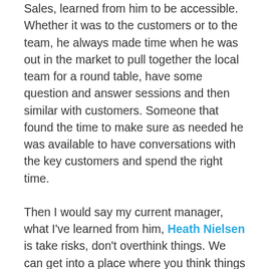Sales, learned from him to be accessible. Whether it was to the customers or to the team, he always made time when he was out in the market to pull together the local team for a round table, have some question and answer sessions and then similar with customers. Someone that found the time to make sure as needed he was available to have conversations with the key customers and spend the right time.
Then I would say my current manager, what I've learned from him, Heath Nielsen is take risks, don't overthink things. We can get into a place where you think things to death over a period of time and don't make a decision and I think there's a time and place where you just say, "Let's give something a try and see what happens." I think we're fortunate in our